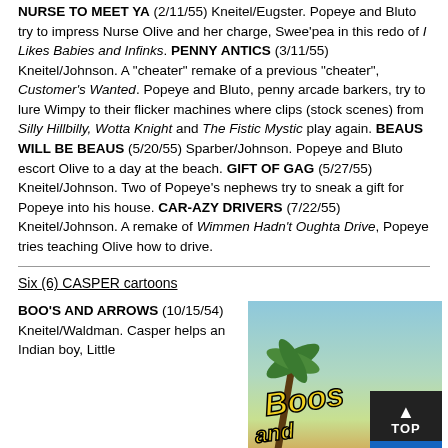NURSE TO MEET YA (2/11/55) Kneitel/Eugster. Popeye and Bluto try to impress Nurse Olive and her charge, Swee'pea in this redo of I Likes Babies and Infinks. PENNY ANTICS (3/11/55) Kneitel/Johnson. A "cheater" remake of a previous "cheater", Customer's Wanted. Popeye and Bluto, penny arcade barkers, try to lure Wimpy to their flicker machines where clips (stock scenes) from Silly Hillbilly, Wotta Knight and The Fistic Mystic play again. BEAUS WILL BE BEAUS (5/20/55) Sparber/Johnson. Popeye and Bluto escort Olive to a day at the beach. GIFT OF GAG (5/27/55) Kneitel/Johnson. Two of Popeye's nephews try to sneak a gift for Popeye into his house. CAR-AZY DRIVERS (7/22/55) Kneitel/Johnson. A remake of Wimmen Hadn't Oughta Drive, Popeye tries teaching Olive how to drive.
Six (6) CASPER cartoons
BOO'S AND ARROWS (10/15/54) Kneitel/Waldman. Casper helps an Indian boy, Little
[Figure (photo): Still image from Boos and Arrows cartoon showing title text in yellow italic font over a background with a palm tree and sky]